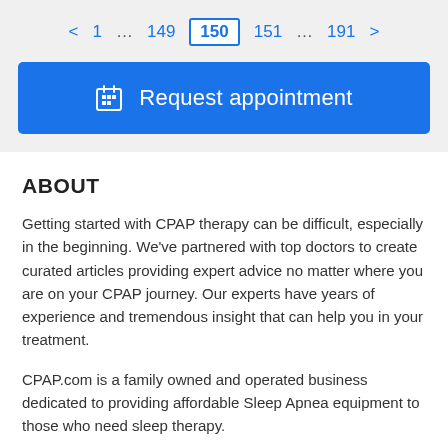< 1 … 149 150 151 … 191 >
[Figure (other): Blue 'Request appointment' button with calendar icon]
ABOUT
Getting started with CPAP therapy can be difficult, especially in the beginning. We've partnered with top doctors to create curated articles providing expert advice no matter where you are on your CPAP journey. Our experts have years of experience and tremendous insight that can help you in your treatment.
CPAP.com is a family owned and operated business dedicated to providing affordable Sleep Apnea equipment to those who need sleep therapy.